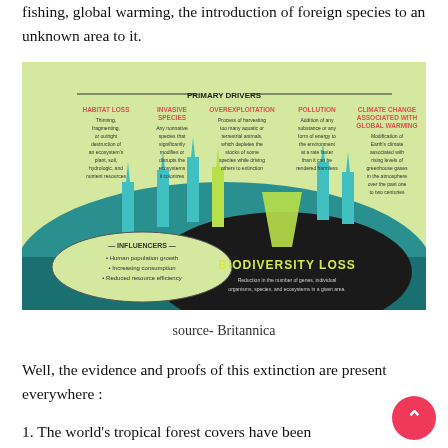fishing, global warming, the introduction of foreign species to an unknown area to it.
[Figure (infographic): Infographic showing Primary Drivers of Biodiversity Loss including: Habitat Loss, Invasive Species, Overexploitation, Pollution, and Climate Change Associated with Global Warming. Bottom section shows Influencers (Human population growth, Increasing consumption, Reduced resource efficiency) and central Biodiversity Loss circle with definition.]
source- Britannica
Well, the evidence and proofs of this extinction are present everywhere :
1. The world's tropical forest covers have been